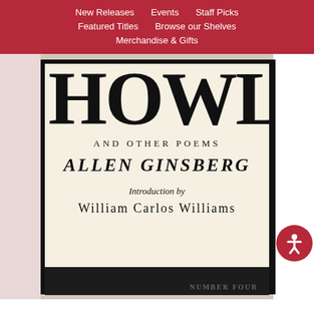New Releases | Events | Staff Picks | Featured Titles | Browse our Shelves | Merchandise & Gifts
[Figure (photo): Book cover of 'Howl and Other Poems' by Allen Ginsberg, with introduction by William Carlos Williams. The cover shows bold black text 'HOWL' at top, followed by 'AND OTHER POEMS' in smaller spaced caps, then 'ALLEN GINSBERG' in italic, then 'Introduction by William Carlos Williams'. Bottom of cover is dark/black with 'NUMBER FOUR' text. An accessibility icon button appears in lower right.]